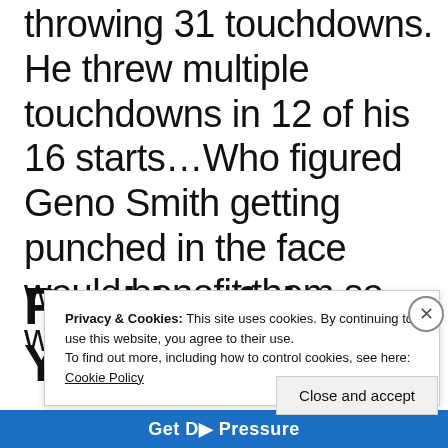throwing 31 touchdowns. He threw multiple touchdowns in 12 of his 16 starts…Who figured Geno Smith getting punched in the face would benefit them so well?
Rookie of the Year
Privacy & Cookies: This site uses cookies. By continuing to use this website, you agree to their use. To find out more, including how to control cookies, see here: Cookie Policy
Close and accept
Get D Pressure